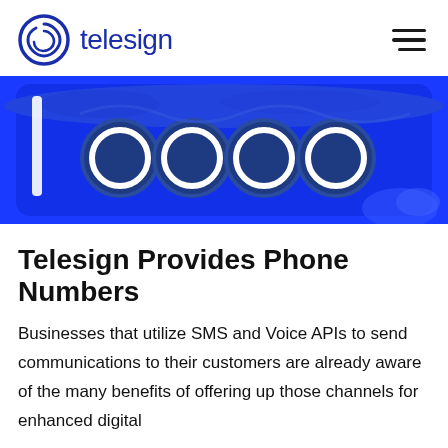[Figure (logo): Telesign logo with spiral icon in blue and blue wordmark 'telesign', plus hamburger menu icon on the right]
[Figure (illustration): Blue illustrated banner showing five circular ring icons on a deep blue background with cloud shapes, representing phone number/communication concepts]
Telesign Provides Phone Numbers
Businesses that utilize SMS and Voice APIs to send communications to their customers are already aware of the many benefits of offering up those channels for enhanced digital